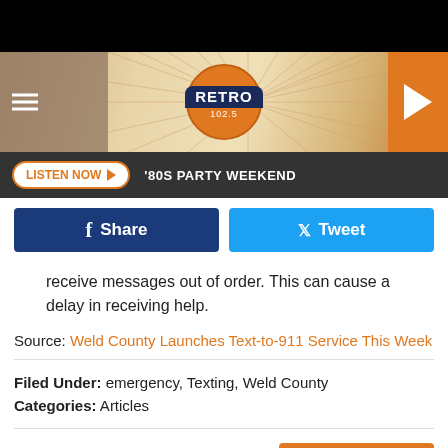[Figure (screenshot): Retro 102.5 radio station header banner with logo, menu icon, and play button on orange background]
LISTEN NOW  '80S PARTY WEEKEND
Share  Tweet
receive messages out of order. This can cause a delay in receiving help.
Source: Weld County Launches Text-to-911 Service This Week
Filed Under: emergency, Texting, Weld County
Categories: Articles
Comments
LEAVE A COMMENT